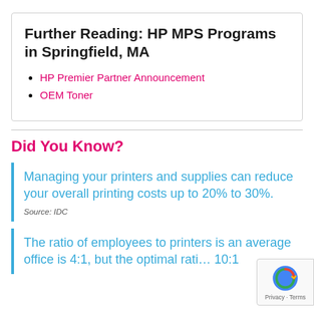Further Reading: HP MPS Programs in Springfield, MA
HP Premier Partner Announcement
OEM Toner
Did You Know?
Managing your printers and supplies can reduce your overall printing costs up to 20% to 30%.
Source: IDC
The ratio of employees to printers is an average office is 4:1, but the optimal ratio is 10:1